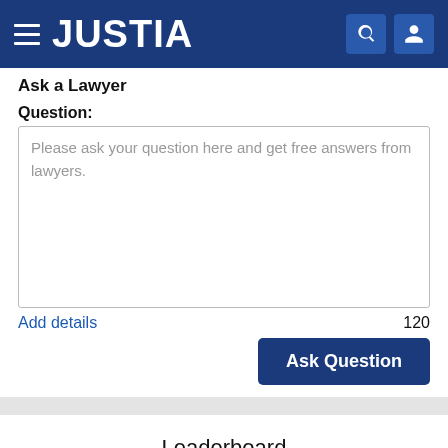JUSTIA
Ask a Lawyer
Question:
Please ask your question here and get free answers from lawyers.
Add details
120
Ask Question
Leaderboard
Maryland
Immigration Law
All Time